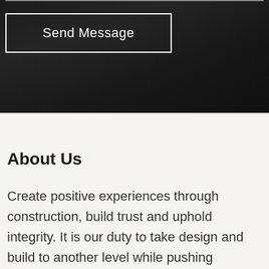[Figure (photo): Dark architectural interior photograph showing geometric ceiling/room structure in deep shadows and dark tones, with a horizontal input bar visible at top]
Send Message
About Us
Create positive experiences through construction, build trust and uphold integrity. It is our duty to take design and build to another level while pushing creativity. Our company stands for honest